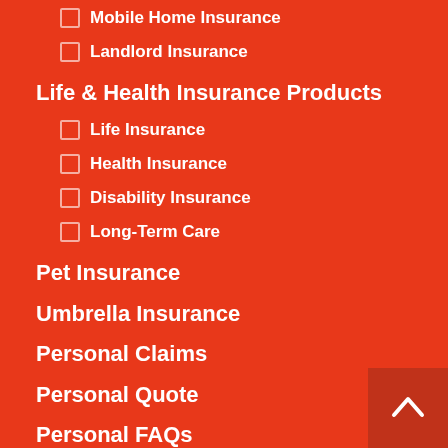Mobile Home Insurance
Landlord Insurance
Life & Health Insurance Products
Life Insurance
Health Insurance
Disability Insurance
Long-Term Care
Pet Insurance
Umbrella Insurance
Personal Claims
Personal Quote
Personal FAQs